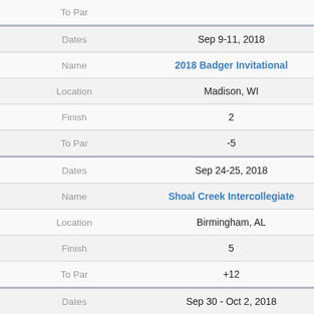| Field | Value |
| --- | --- |
| Dates | Sep 9-11, 2018 |
| Name | 2018 Badger Invitational |
| Location | Madison, WI |
| Finish | 2 |
| To Par | -5 |
| Dates | Sep 24-25, 2018 |
| Name | Shoal Creek Intercollegiate |
| Location | Birmingham, AL |
| Finish | 5 |
| To Par | +12 |
| Dates | Sep 30 - Oct 2, 2018 |
| Name | The Jackrabbit |
| Location | Valentine, NE |